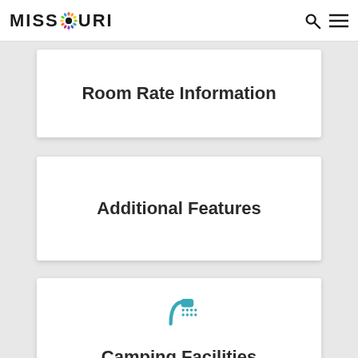MISSOURI
Room Rate Information
Additional Features
[Figure (illustration): Shower head icon in teal/turquoise color]
Camping Facilities
Group Sites
RV Sites
Tent Sites
Cabins